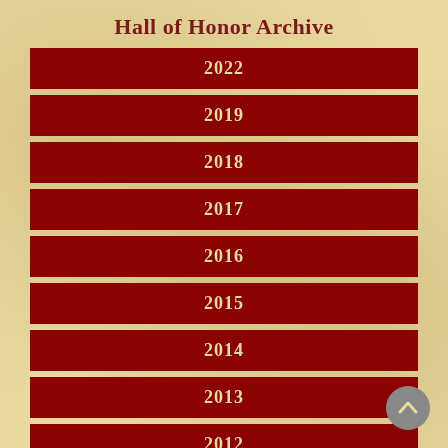Hall of Honor Archive
2022
2019
2018
2017
2016
2015
2014
2013
2012
2011